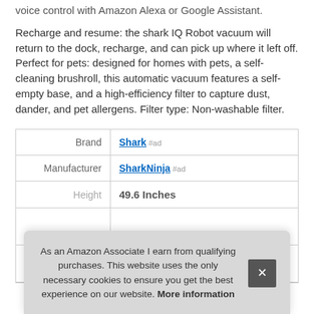voice control with Amazon Alexa or Google Assistant.
Recharge and resume: the shark IQ Robot vacuum will return to the dock, recharge, and can pick up where it left off. Perfect for pets: designed for homes with pets, a self-cleaning brushroll, this automatic vacuum features a self-empty base, and a high-efficiency filter to capture dust, dander, and pet allergens. Filter type: Non-washable filter.
|  |  |
| --- | --- |
| Brand | Shark #ad |
| Manufacturer | SharkNinja #ad |
| Height | 49.6 Inches |
As an Amazon Associate I earn from qualifying purchases. This website uses the only necessary cookies to ensure you get the best experience on our website. More information